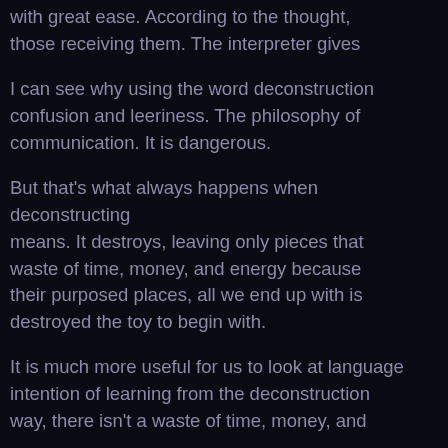with great ease. According to the thought, those receiving them. The interpreter gives
I can see why using the word deconstruction confusion and leeriness. The philosophy of communication. It is dangerous.
But that's what always happens when deconstructing means. It destroys, leaving only pieces that waste of time, money, and energy because their purposed places, all we end up with is destroyed the toy to begin with.
It is much more useful for us to look at language intention of learning from the deconstruction way, there isn't a waste of time, money, and